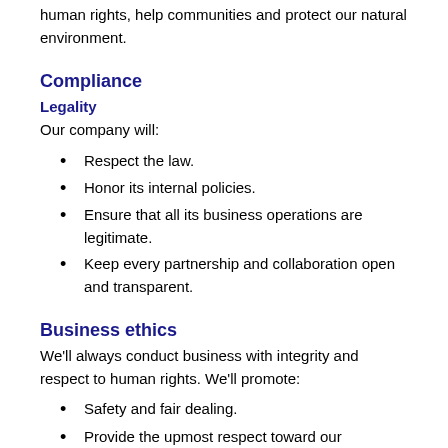human rights, help communities and protect our natural environment.
Compliance
Legality
Our company will:
Respect the law.
Honor its internal policies.
Ensure that all its business operations are legitimate.
Keep every partnership and collaboration open and transparent.
Business ethics
We'll always conduct business with integrity and respect to human rights. We'll promote:
Safety and fair dealing.
Provide the upmost respect toward our customers